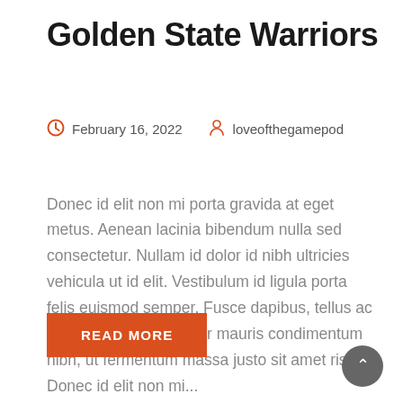Golden State Warriors
February 16, 2022   loveofthegamepod
Donec id elit non mi porta gravida at eget metus. Aenean lacinia bibendum nulla sed consectetur. Nullam id dolor id nibh ultricies vehicula ut id elit. Vestibulum id ligula porta felis euismod semper. Fusce dapibus, tellus ac cursus commodo, tortor mauris condimentum nibh, ut fermentum massa justo sit amet risus. Donec id elit non mi...
READ MORE